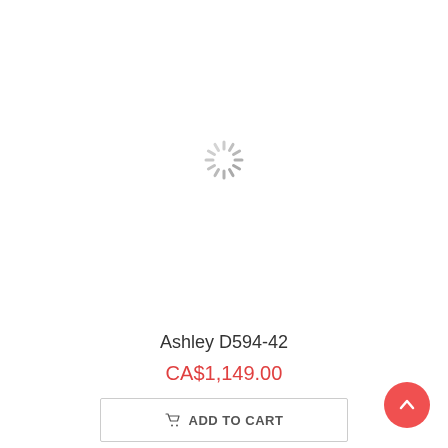[Figure (illustration): Loading spinner icon (circular dashed spokes) centered in the product image area, indicating an image is loading]
Ashley D594-42
CA$1,149.00
ADD TO CART